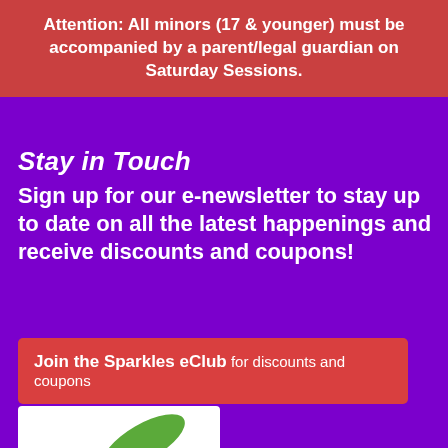Attention: All minors (17 & younger) must be accompanied by a parent/legal guardian on Saturday Sessions.
Stay in Touch
Sign up for our e-newsletter to stay up to date on all the latest happenings and receive discounts and coupons!
Join the Sparkles eClub for discounts and coupons
[Figure (logo): Eco Tech Services logo – Northwest Georgia's Surface Cleaning Specialists]